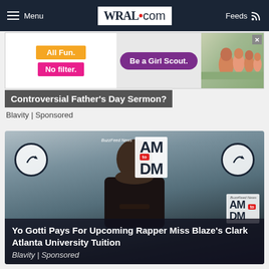WRAL.com — Menu | Feeds
[Figure (screenshot): Girl Scout advertisement banner with orange 'All Fun.' box, pink 'No filter.' box, purple 'Be a Girl Scout.' button, and girls photo on right. X close button visible.]
Blavity | Sponsored
[Figure (photo): Photo of rapper Yo Gotti with hands clasped, in front of BuzzFeed News AM to DM logo backdrop. Two circular arrow icons on left and right. Bottom right shows smaller AM to DM logo.]
Yo Gotti Pays For Upcoming Rapper Miss Blaze's Clark Atlanta University Tuition
Blavity | Sponsored